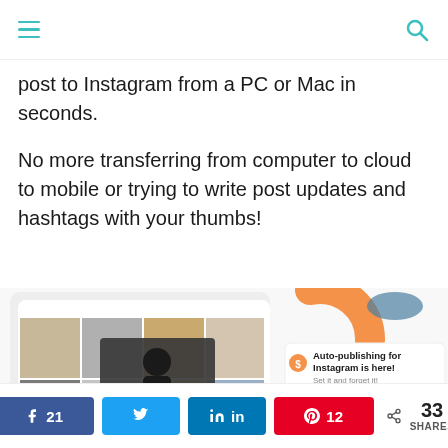≡  [hamburger menu]   [search icon]
post to Instagram from a PC or Mac in seconds.
No more transferring from computer to cloud to mobile or trying to write post updates and hashtags with your thumbs!
[Figure (screenshot): Screenshot of Instagram post scheduler interface showing a grid of fashion photos on mobile, with an orange decorative shape, a teal decorative shape, and an advertisement for Auto-publishing for Instagram with text 'Auto-publishing for Instagram is here! Set it and forget it!' and a button reading 'Try Sharelov today']
21 [Facebook share] [Twitter share] [LinkedIn share] 12 [Pinterest share] < 33 SHARES